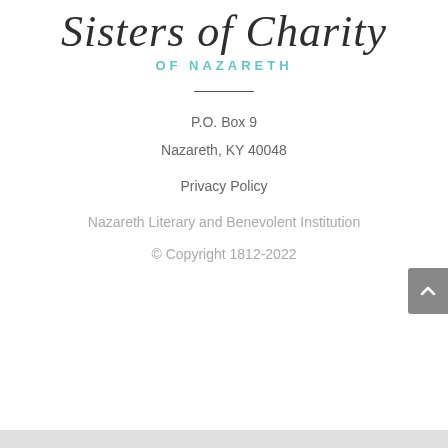[Figure (logo): Sisters of Charity of Nazareth logo with cursive script and teal subtitle]
P.O. Box 9
Nazareth, KY 40048
Privacy Policy
Nazareth Literary and Benevolent Institution
© Copyright 1812-2022